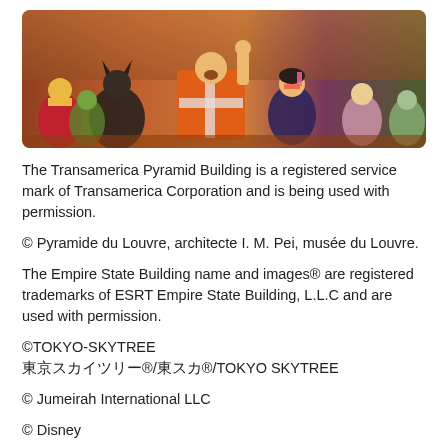[Figure (illustration): The Lego Movie promotional image showing Lego characters including Emmet in orange construction vest, Batman, Wyldstyle, Wonder Woman, and other characters in a colorful action scene.]
The Transamerica Pyramid Building is a registered service mark of Transamerica Corporation and is being used with permission.
© Pyramide du Louvre, architecte I. M. Pei, musée du Louvre.
The Empire State Building name and images® are registered trademarks of ESRT Empire State Building, L.L.C and are used with permission.
©TOKYO-SKYTREE
東京スカイツリー®/東スカ®/TOKYO SKYTREE
© Jumeirah International LLC
© Disney